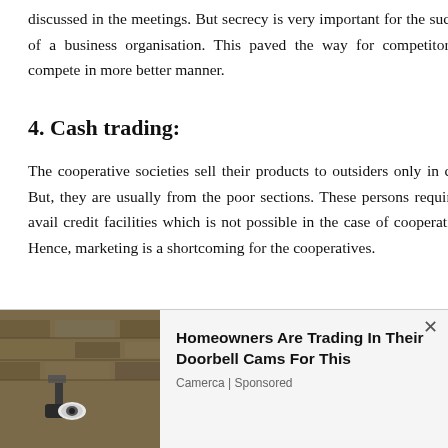discussed in the meetings. But secrecy is very important for the success of a business organisation. This paved the way for competitors to compete in more better manner.
4. Cash trading:
The cooperative societies sell their products to outsiders only in cash. But, they are usually from the poor sections. These persons require to avail credit facilities which is not possible in the case of cooperatives. Hence, marketing is a shortcoming for the cooperatives.
We use cookies on our website to give you the most relevant experience by remembering your preferences and repeat visits. By clicking “Accept”, you consent to the use of ALL the cookies.
Do not sell my personal information.
[Figure (photo): Advertisement banner showing a security camera mounted on a stone wall, with text: Homeowners Are Trading In Their Doorbell Cams For This. Source: Camerca | Sponsored]